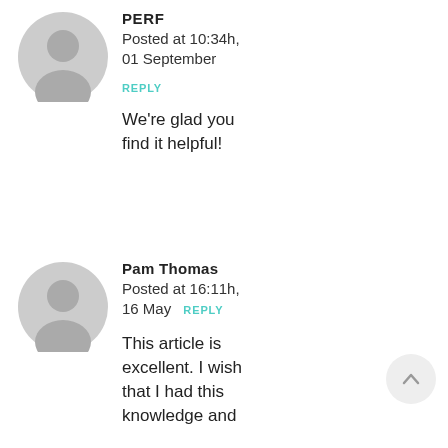[Figure (illustration): Gray circular avatar icon for user PERF]
PERF
Posted at 10:34h, 01 September
REPLY
We're glad you find it helpful!
[Figure (illustration): Gray circular avatar icon for user Pam Thomas]
Pam Thomas
Posted at 16:11h, 16 May
REPLY
This article is excellent. I wish that I had this knowledge and